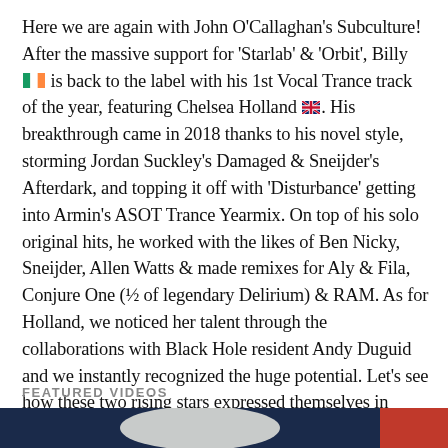Here we are again with John O'Callaghan's Subculture! After the massive support for 'Starlab' & 'Orbit', Billy 🇮🇪 is back to the label with his 1st Vocal Trance track of the year, featuring Chelsea Holland 🇬🇧. His breakthrough came in 2018 thanks to his novel style, storming Jordan Suckley's Damaged & Sneijder's Afterdark, and topping it off with 'Disturbance' getting into Armin's ASOT Trance Yearmix. On top of his solo original hits, he worked with the likes of Ben Nicky, Sneijder, Allen Watts & made remixes for Aly & Fila, Conjure One (½ of legendary Delirium) & RAM. As for Holland, we noticed her talent through the collaborations with Black Hole resident Andy Duguid and we instantly recognized the huge potential. Let's see how these two rising stars expressed themselves in 'Defender'!
FEATURED VIDEOS
[Figure (photo): Bottom strip showing partial image with dark blue tones, appears to be a music/video thumbnail]